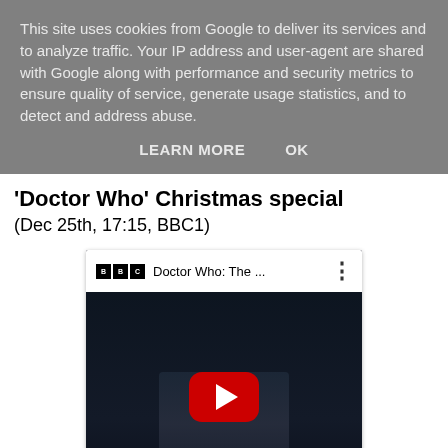This site uses cookies from Google to deliver its services and to analyze traffic. Your IP address and user-agent are shared with Google along with performance and security metrics to ensure quality of service, generate usage statistics, and to detect and address abuse.
LEARN MORE   OK
'Doctor Who' Christmas special
(Dec 25th, 17:15, BBC1)
[Figure (screenshot): YouTube video embed showing a BBC Doctor Who video thumbnail with title 'Doctor Who: The ...' and a red YouTube play button overlay on a dark scene with a figure.]